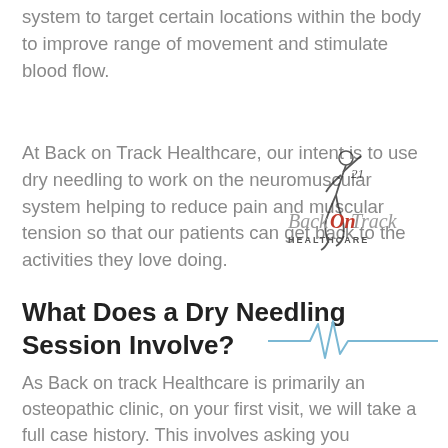system to target certain locations within the body to improve range of movement and stimulate blood flow.
At Back on Track Healthcare, our intent is to use dry needling to work on the neuromuscular system helping to reduce pain and muscular tension so that our patients can get back to the activities they love doing.
[Figure (logo): Back On Track Healthcare logo with stylized runner figure]
What Does a Dry Needling Session Involve?
[Figure (illustration): ECG/heartbeat decorative line in blue]
As Back on track Healthcare is primarily an osteopathic clinic, on your first visit, we will take a full case history. This involves asking you questions about